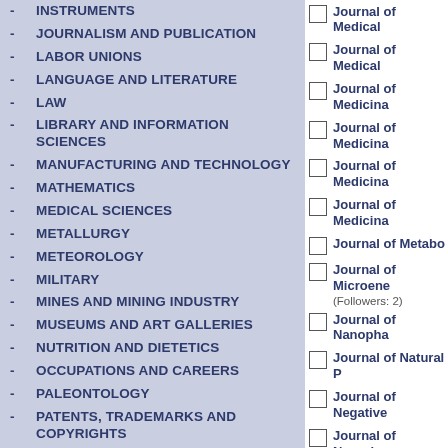INSTRUMENTS
JOURNALISM AND PUBLICATION
LABOR UNIONS
LANGUAGE AND LITERATURE
LAW
LIBRARY AND INFORMATION SCIENCES
MANUFACTURING AND TECHNOLOGY
MATHEMATICS
MEDICAL SCIENCES
METALLURGY
METEOROLOGY
MILITARY
MINES AND MINING INDUSTRY
MUSEUMS AND ART GALLERIES
NUTRITION AND DIETETICS
OCCUPATIONS AND CAREERS
PALEONTOLOGY
PATENTS, TRADEMARKS AND COPYRIGHTS
Journal of Medical...
Journal of Medical...
Journal of Medicina...
Journal of Medicina...
Journal of Medicina...
Journal of Medicina...
Journal of Metabo...
Journal of Microene... (Followers: 2)
Journal of Nanopha...
Journal of Natural P...
Journal of Negative...
Journal of Neuroim...
Journal of Ocular P...
Journal of Oncolog...
Journal of Pain & P...
Journal of Pain Ma...
Journal of Pharmac...
Journal of Pharmac...
Journal of Pharmac...